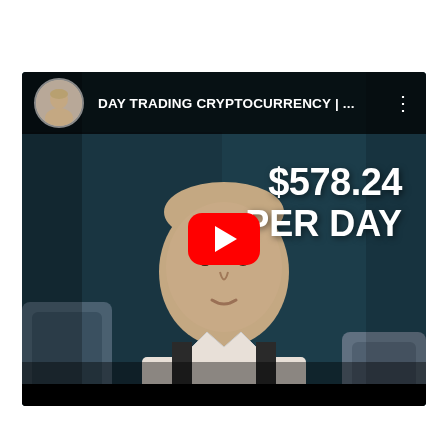[Figure (screenshot): YouTube video thumbnail showing a bald man in a white shirt against a dark teal background. The video title bar reads 'DAY TRADING CRYPTOCURRENCY | ...' with a circular avatar of a man. Overlaid text on the right reads '$578.24 PER DAY' in large white bold font. A red YouTube play button is centered over the image. A black bar is at the bottom.]